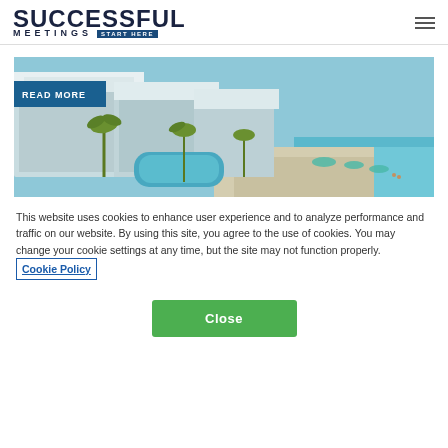SUCCESSFUL MEETINGS START HERE
[Figure (photo): Aerial view of a beachside resort hotel with white rooftops, swimming pool, palm trees, beach umbrellas, and turquoise ocean water. A 'READ MORE' button badge overlays the top-left of the image.]
This website uses cookies to enhance user experience and to analyze performance and traffic on our website. By using this site, you agree to the use of cookies. You may change your cookie settings at any time, but the site may not function properly. Cookie Policy
Close